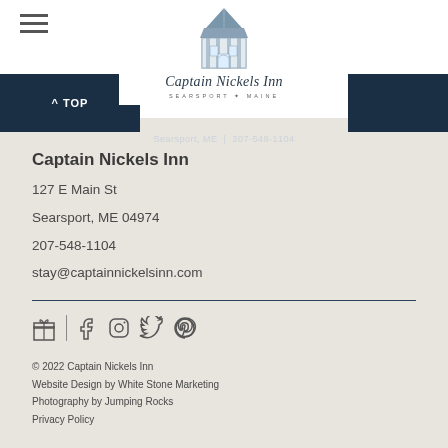[Figure (logo): Captain Nickels Inn logo with tower illustration and cursive text, Searsport Maine]
^ TOP | Searsport, ME | 207-548-1104
Captain Nickels Inn
127 E Main St
Searsport, ME 04974
207-548-1104
stay@captainnickelsinn.com
[Figure (infographic): Social media icons row: gift/certificate icon, vertical separator, Facebook, Instagram, Twitter, Pinterest icons]
© 2022 Captain Nickels Inn
Website Design by White Stone Marketing
Photography by Jumping Rocks
Privacy Policy